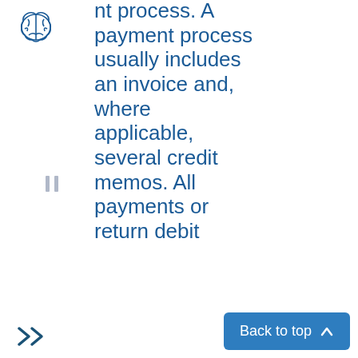[Figure (logo): Brain icon illustration in outline style]
nt process. A payment process usually includes an invoice and, where applicable, several credit memos. All payments or return debit
[Figure (other): Pause/parallel lines icon]
[Figure (other): Double right arrow chevron icon]
[Figure (other): Back to top button with upward arrow]